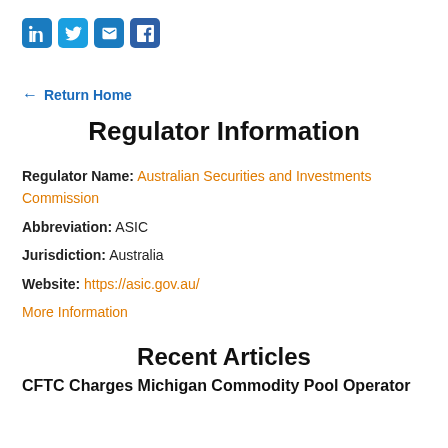[Figure (other): Social media share icons: LinkedIn, Twitter, Email, Facebook]
← Return Home
Regulator Information
Regulator Name: Australian Securities and Investments Commission
Abbreviation: ASIC
Jurisdiction: Australia
Website: https://asic.gov.au/
More Information
Recent Articles
CFTC Charges Michigan Commodity Pool Operator